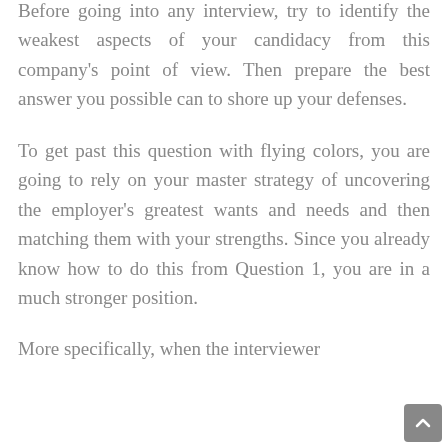Before going into any interview, try to identify the weakest aspects of your candidacy from this company's point of view. Then prepare the best answer you possible can to shore up your defenses.
To get past this question with flying colors, you are going to rely on your master strategy of uncovering the employer's greatest wants and needs and then matching them with your strengths. Since you already know how to do this from Question 1, you are in a much stronger position.
More specifically, when the interviewer